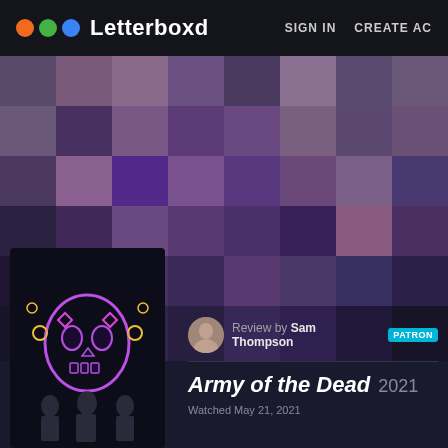Letterboxd   SIGN IN   CREATE AC
[Figure (screenshot): Blurred/pixelated dark purple movie backdrop image spanning the hero area]
[Figure (photo): Army of the Dead movie poster with neon skull and characters on dark background]
Review by Sam Thompson PATRON
Army of the Dead 2021
Watched May 21, 2021